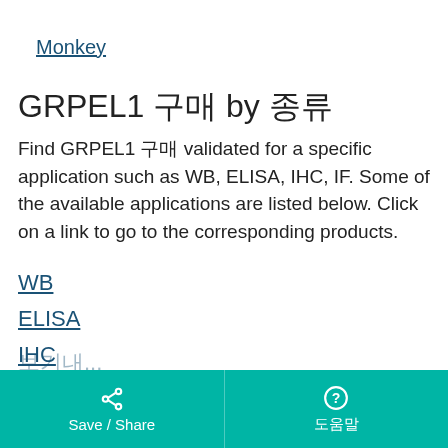Monkey
GRPEL1 항체 by 적용분야
Find GRPEL1 항체 validated for a specific application such as WB, ELISA, IHC, IF. Some of the available applications are listed below. Click on a link to go to the corresponding products.
WB
ELISA
IHC
IF
Save / Share   도움말